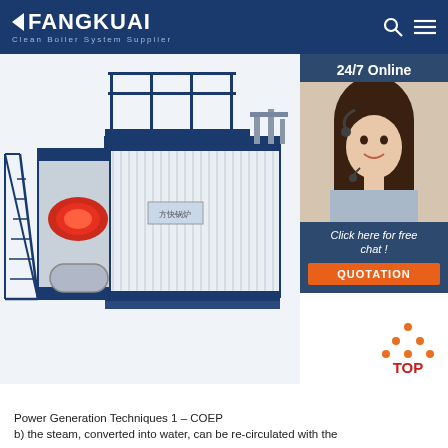FANGKUAI Clean Boiler System Supplier
[Figure (photo): Industrial boiler unit with blue steel frame, red burner, access stairs and roof walkway railing. Fangkuai branded product photo.]
[Figure (photo): Customer service representative wearing headset, smiling. Overlaid with '24/7 Online' text, 'Click here for free chat!' and 'QUOTATION' button on dark blue background.]
[Figure (illustration): TOP navigation icon with orange dots forming triangle and red 'TOP' text]
Power Generation Techniques 1 – COEP
b) the steam, converted into water, can be re-circulated with the